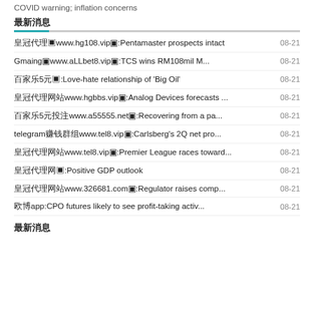COVID warning; inflation concerns
最新消息
皇冠代理www.hg108.vip❤:Pentamaster prospects intact
Gmaing❤www.aLLbet8.vip❤:TCS wins RM108mil M...
百家乐5元❤:Love-hate relationship of 'Big Oil'
皇冠代理网站www.hgbbs.vip❤:Analog Devices forecasts ...
百家乐5元投注www.a55555.net❤:Recovering from a pa...
telegram赚钱群组www.tel8.vip❤:Carlsberg's 2Q net pro...
皇冠代理网站www.tel8.vip❤:Premier League races toward...
皇冠代理网❤:Positive GDP outlook
皇冠代理网站www.326681.com❤:Regulator raises comp...
欧博app:CPO futures likely to see profit-taking activ...
最新消息